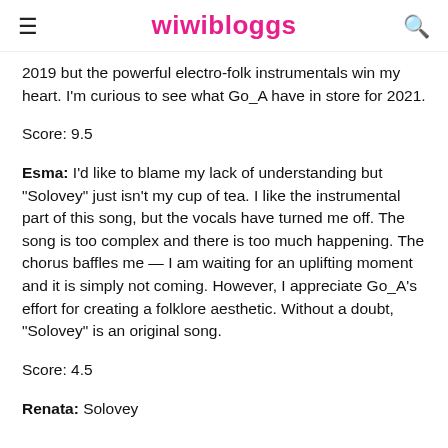wiwibloggs
2019 but the powerful electro-folk instrumentals win my heart. I'm curious to see what Go_A have in store for 2021.
Score: 9.5
Esma: I'd like to blame my lack of understanding but "Solovey" just isn't my cup of tea. I like the instrumental part of this song, but the vocals have turned me off. The song is too complex and there is too much happening. The chorus baffles me — I am waiting for an uplifting moment and it is simply not coming. However, I appreciate Go_A's effort for creating a folklore aesthetic. Without a doubt, "Solovey" is an original song.
Score: 4.5